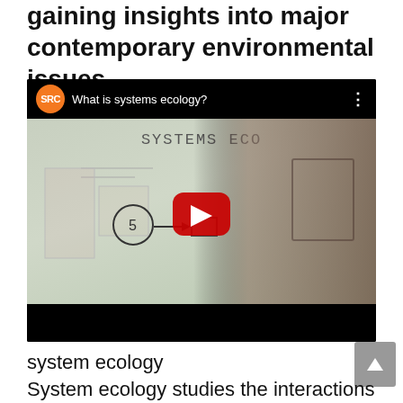gaining insights into major contemporary environmental issues.
[Figure (screenshot): YouTube-style embedded video player showing 'What is systems ecology?' with SRC channel icon (orange circle), video thumbnail of a presenter in front of a whiteboard with 'SYSTEMS ECO...' written on it, and a red play button overlay.]
system ecology
System ecology studies the interactions